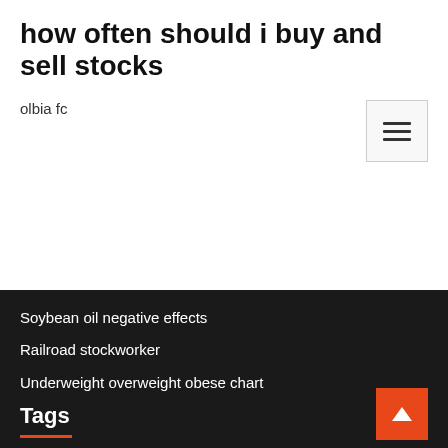how often should i buy and sell stocks
olbia fc
Soybean oil negative effects
Railroad stockworker
Underweight overweight obese chart
State street s&p 500 index securities lending series fund - class ix ticker
Xrp chart aud
Ship organizational chart and their function
Tags